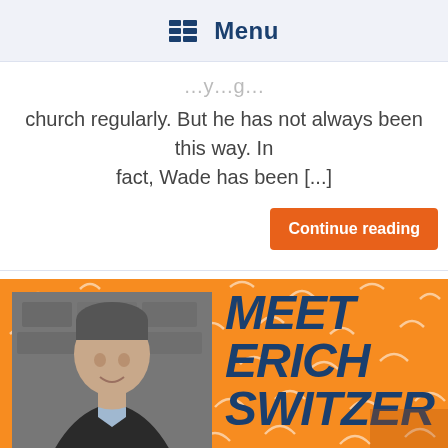Menu
church regularly. But he has not always been this way. In fact, Wade has been [...]
Continue reading
[Figure (photo): Orange banner with photo of man (Erich Switzer) on the left, and bold text 'Meet Erich Switzer' on the right against an orange background with decorative arcs.]